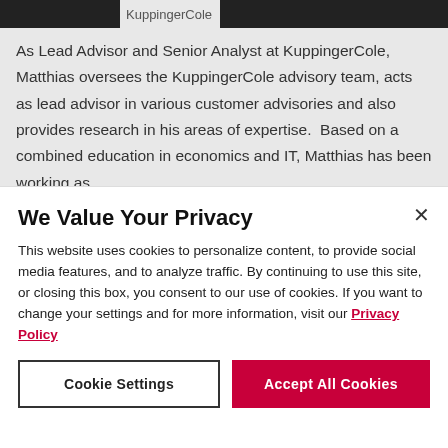KuppingerCole
As Lead Advisor and Senior Analyst at KuppingerCole, Matthias oversees the KuppingerCole advisory team, acts as lead advisor in various customer advisories and also provides research in his areas of expertise.  Based on a combined education in economics and IT, Matthias has been working as...
We Value Your Privacy
This website uses cookies to personalize content, to provide social media features, and to analyze traffic. By continuing to use this site, or closing this box, you consent to our use of cookies. If you want to change your settings and for more information, visit our Privacy Policy
Cookie Settings
Accept All Cookies